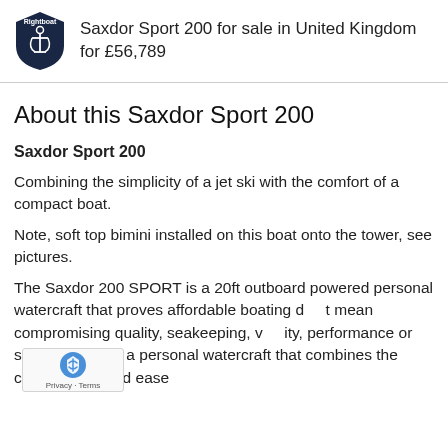Saxdor Sport 200 for sale in United Kingdom for £56,789
About this Saxdor Sport 200
Saxdor Sport 200
Combining the simplicity of a jet ski with the comfort of a compact boat.
Note, soft top bimini installed on this boat onto the tower, see pictures.
The Saxdor 200 SPORT is a 20ft outboard powered personal watercraft that proves affordable boating d  t mean compromising quality, seakeeping, v  ity, performance or sexy styling. It's a personal watercraft that combines the convenience and ease